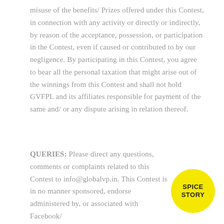misuse of the benefits/ Prizes offered under this Contest, in connection with any activity or directly or indirectly, by reason of the acceptance, possession, or participation in the Contest, even if caused or contributed to by our negligence. By participating in this Contest, you agree to bear all the personal taxation that might arise out of the winnings from this Contest and shall not hold GVFPL and its affiliates responsible for payment of the same and/ or any dispute arising in relation thereof.
QUERIES: Please direct any questions, comments or complaints related to this Contest to info@globalvp.in. This Contest is in no manner sponsored, endorsed, administered by, or associated with Facebook/ Instagram.
[Figure (logo): Yellow circular logo with text 'SPICE STORY' in bold uppercase]